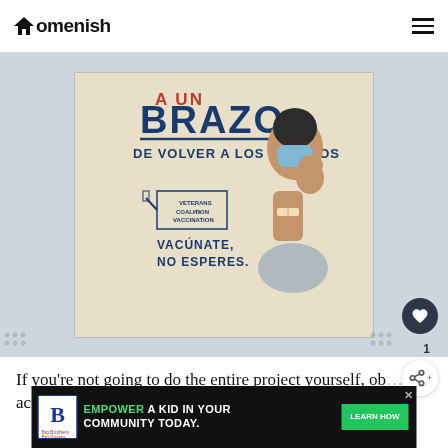Homenish
[Figure (photo): Vaccination poster in Spanish showing a masked woman flexing her arm with a bandage, text reads 'A UN BRAZO DE VOLVER A LOS ABRAZOS', Veterans Coalition for Vaccination, VACUNATE. NO ESPERES.]
If you're not going to do the entire project yourself, ob... ac... s. If
[Figure (other): Advertisement banner: Big Brothers Big Sisters logo, 'EMPOWER A KID IN YOUR COMMUNITY TODAY.' with Learn How button]